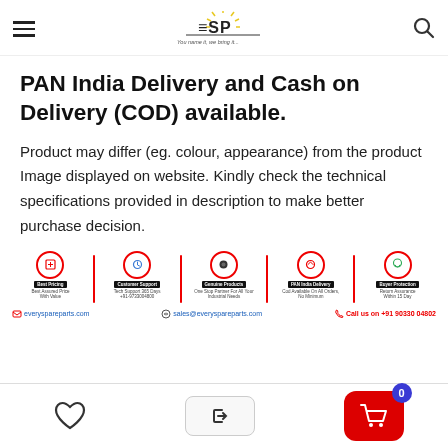ESP - Every Spare Parts | You name it, we bring it...
PAN India Delivery and Cash on Delivery (COD) available.
Product may differ (eg. colour, appearance) from the product Image displayed on website. Kindly check the technical specifications provided in description to make better purchase decision.
[Figure (infographic): Features bar with 5 icons: Best Pricing (Best Assured Price With Value), Customer Support (Tech Support 365 Days +91-9733004800), Genuine Products (One Stop Partner For All Your Industrial Needs), PAN India Delivery (Cod Available On All Orders, No Minimum), Buyer Protection (Return Assurance Within 15 Day). Contact row: everyspareparts.com, sales@everyspareparts.com, Call us on +91 90330 04802]
Wishlist | Login | Cart (0)